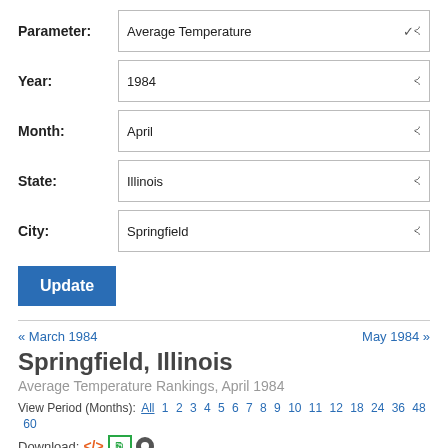Parameter: Average Temperature
Year: 1984
Month: April
State: Illinois
City: Springfield
Update
« March 1984
May 1984 »
Springfield, Illinois
Average Temperature Rankings, April 1984
View Period (Months): All 1 2 3 4 5 6 7 8 9 10 11 12 18 24 36 48 60
Download:
| PERIOD | VALUE | 1981-2010 | ANOMALY | RANK | W |
| --- | --- | --- | --- | --- | --- |